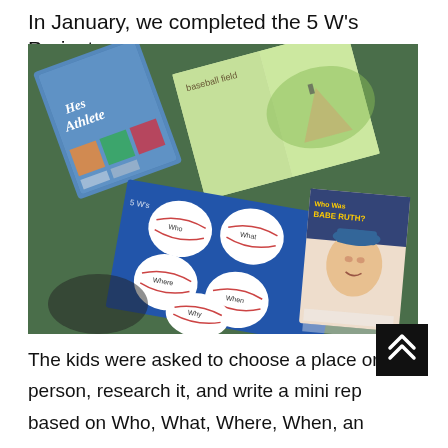In January, we completed the 5 W's Project.
[Figure (photo): Photo of children's books and a blue poster board with baseball-shaped cutouts containing written text, arranged on a green surface. Books visible include a Babe Ruth biography.]
The kids were asked to choose a place or a person, research it, and write a mini rep based on Who, What, Where, When, and Why prompts.